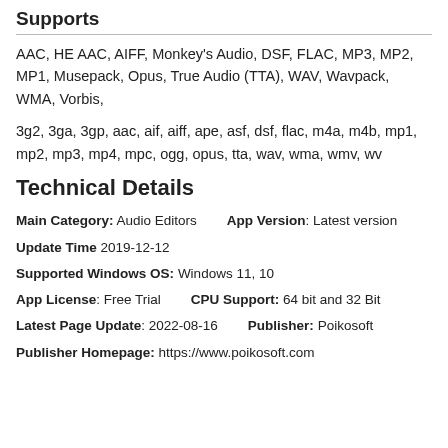Supports
AAC, HE AAC, AIFF, Monkey's Audio, DSF, FLAC, MP3, MP2, MP1, Musepack, Opus, True Audio (TTA), WAV, Wavpack, WMA, Vorbis,
3g2, 3ga, 3gp, aac, aif, aiff, ape, asf, dsf, flac, m4a, m4b, mp1, mp2, mp3, mp4, mpc, ogg, opus, tta, wav, wma, wmv, wv
Technical Details
Main Category: Audio Editors    App Version: Latest version
Update Time 2019-12-12
Supported Windows OS: Windows 11, 10
App License: Free Trial    CPU Support: 64 bit and 32 Bit
Latest Page Update: 2022-08-16    Publisher: Poikosoft
Publisher Homepage: https://www.poikosoft.com